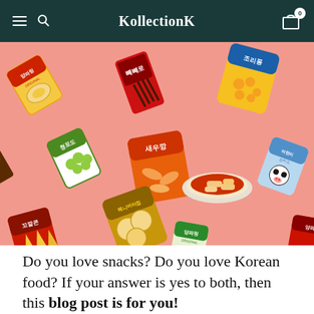KollectionK
[Figure (photo): A flat-lay photo of various Korean snack packages arranged diagonally on a pink/salmon background, including products with Korean text such as 양파링, 빼빼로, 조리퐁, 청포도, 새우깡, 헤니버터칩, 꼬깔콘, 양파링, and a bowl of tteokbokki]
Do you love snacks? Do you love Korean food? If your answer is yes to both, then this blog post is for you!